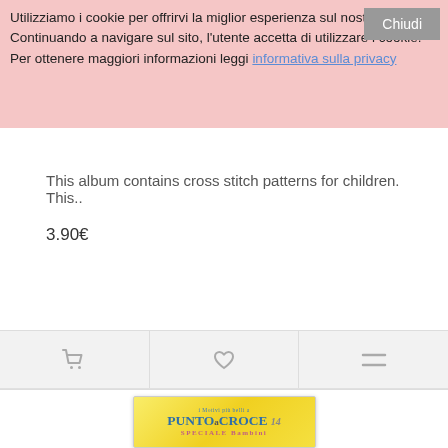Utilizziamo i cookie per offrirvi la miglior esperienza sul nostro sito. Continuando a navigare sul sito, l'utente accetta di utilizzare i cookie. Per ottenere maggiori informazioni leggi informativa sulla privacy
Chiudi
...ecial for Children
This album contains cross stitch patterns for children. This..
3.90€
[Figure (screenshot): Toolbar with cart icon, heart icon, and menu icon on gray background]
[Figure (illustration): Book cover: Punto a Croce Speciale Bambini - yellow cover with butterflies and babies, cross stitch patterns for children]